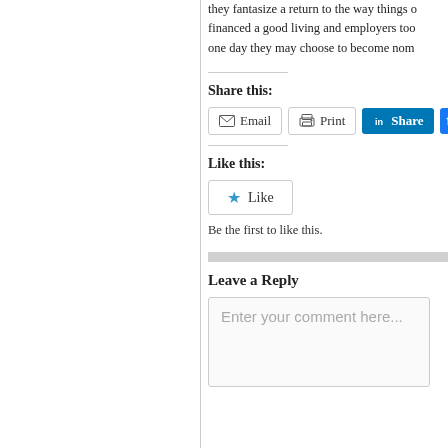they fantasize a return to the way things once were, when a single salary financed a good living and employers took care of you, but they also fear that one day they may choose to become nom...
Share this:
Email   Print   Share
Like this:
Like
Be the first to like this.
Leave a Reply
Enter your comment here...